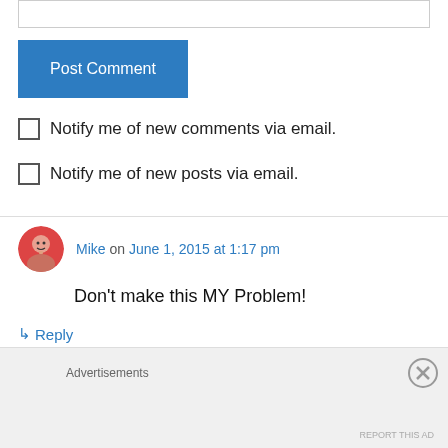[Figure (other): Text input box (comment form field)]
Post Comment
Notify me of new comments via email.
Notify me of new posts via email.
Mike on June 1, 2015 at 1:17 pm
Don't make this MY Problem!
↳ Reply
Advertisements
REPORT THIS AD